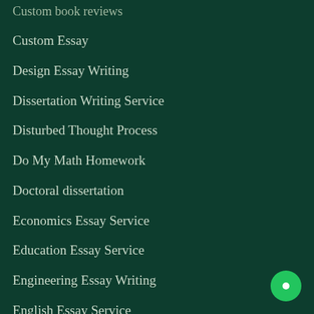Custom book reviews
Custom Essay
Design Essay Writing
Dissertation Writing Service
Disturbed Thought Process
Do My Math Homework
Doctoral dissertation
Economics Essay Service
Education Essay Service
Engineering Essay Writing
English Essay Service
English Language Essay
English Literature Essay